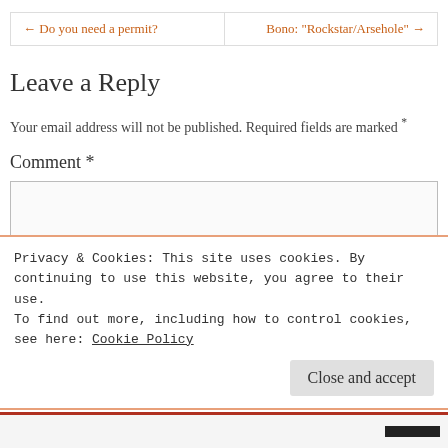← Do you need a permit?  |  Bono: "Rockstar/Arsehole" →
Leave a Reply
Your email address will not be published. Required fields are marked *
Comment *
Privacy & Cookies: This site uses cookies. By continuing to use this website, you agree to their use.
To find out more, including how to control cookies, see here: Cookie Policy
Close and accept